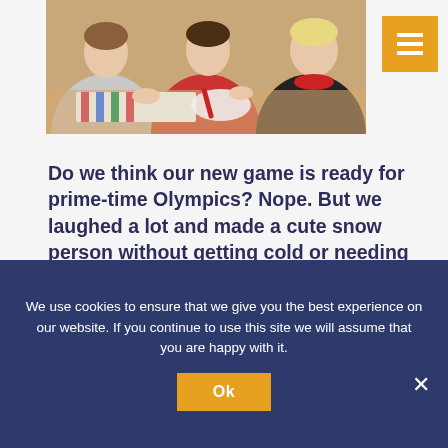[Figure (photo): Three women sitting around a table engaged in a craft activity, making faux snow. One wears red, one wears a striped shirt, one wears black. Colorful supplies on table.]
Do we think our new game is ready for prime-time Olympics? Nope. But we laughed a lot and made a cute snow person without getting cold or needing any real snow. Gold medals all around for being such good sports!
Oh. And. Making faux snow is our January messy art project for our clients, too! Hopefully your child will
We use cookies to ensure that we give you the best experience on our website. If you continue to use this site we will assume that you are happy with it.